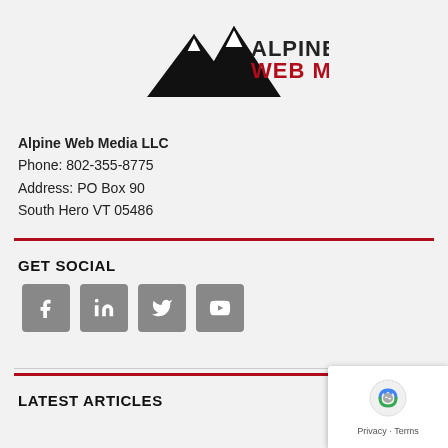[Figure (logo): Alpine Web Media logo — mountain silhouette with text ALPINE WEB MEDIA, WEB MEDIA in red]
Alpine Web Media LLC
Phone: 802-355-8775
Address: PO Box 90
South Hero VT 05486
GET SOCIAL
[Figure (infographic): Four gray rounded-square social media icons: Facebook (f), LinkedIn (in), Twitter (bird), YouTube (play triangle)]
LATEST ARTICLES